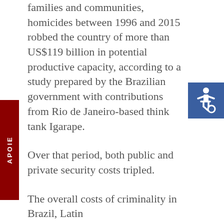families and communities, homicides between 1996 and 2015 robbed the country of more than US$119 billion in potential productive capacity, according to a study prepared by the Brazilian government with contributions from Rio de Janeiro-based think tank Igarape.
Over that period, both public and private security costs tripled.
The overall costs of criminality in Brazil, Latin
[Figure (other): Blue square with white wheelchair accessibility icon (ISA symbol)]